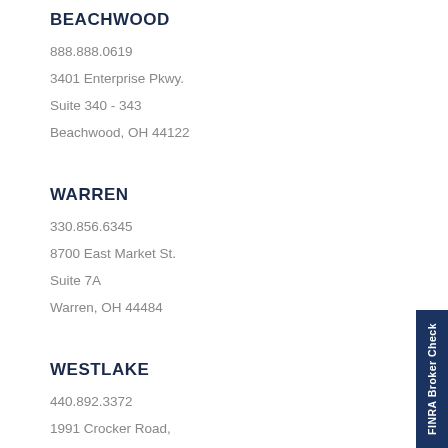BEACHWOOD
888.888.0619
3401 Enterprise Pkwy.
Suite 340 - 343
Beachwood, OH 44122
WARREN
330.856.6345
8700 East Market St.
Suite 7A
Warren, OH 44484
WESTLAKE
440.892.3372
1991 Crocker Road,